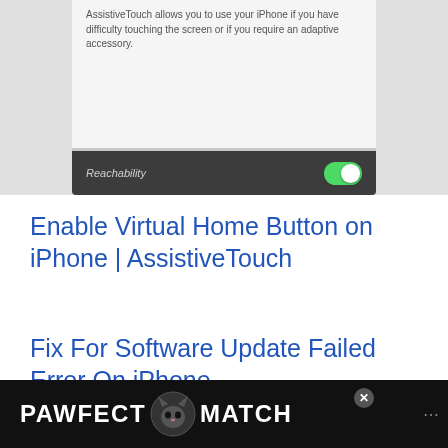[Figure (screenshot): Partial iPhone settings screen showing AssistiveTouch description text and a Reachability toggle switch turned on (green)]
Enable Virtual Home Button on iPhone | AssistiveTouch
Fix For Software Update Failed Error On iPhone
[Figure (photo): Person holding a smartphone outdoors with trees in background]
[Figure (screenshot): Advertisement banner: PAWFECT MATCH with cat icon on dark background]